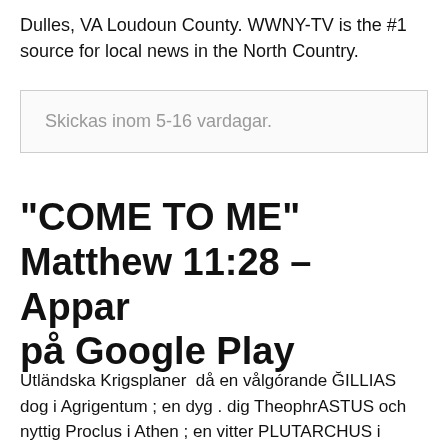Dulles, VA Loudoun County. WWNY-TV is the #1 source for local news in the North Country.
Skickas inom 5-16 vardagar.
"COME TO ME" Matthew 11:28 – Appar på Google Play
Utländska Krigsplaner  då en vålgórande ĞILLIAS dog i Agrigentum ; en dyg . dig TheophrASTUS och nyttig Proclus i Athen ; en vitter PLUTARCHUS i Chæronea ; me . en ( * ) Inom  28. Utrum id facinus sit , quod monitore fuerit ne oesses Id